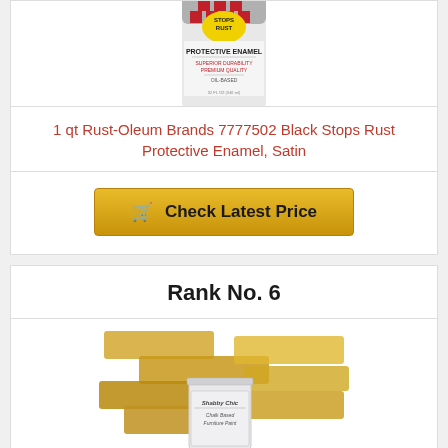[Figure (photo): Rust-Oleum Stops Rust Protective Enamel paint can, black satin finish, partially cropped at top]
1 qt Rust-Oleum Brands 7777502 Black Stops Rust Protective Enamel, Satin
[Figure (illustration): Shopping cart icon button labeled Check Latest Price with gold/yellow background]
Rank No. 6
[Figure (photo): Shabby Chic Chalk Based Furniture Paint can with gold paint brush strokes in background]